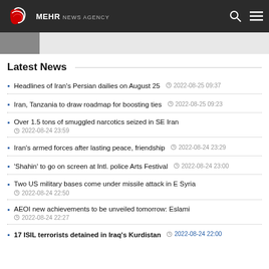MEHR NEWS AGENCY
[Figure (screenshot): Thumbnail image strip partially visible at top]
Latest News
Headlines of Iran's Persian dailies on August 25 — 2022-08-25 09:37
Iran, Tanzania to draw roadmap for boosting ties — 2022-08-25 09:23
Over 1.5 tons of smuggled narcotics seized in SE Iran — 2022-08-24 23:59
Iran's armed forces after lasting peace, friendship — 2022-08-24 23:29
'Shahin' to go on screen at Intl. police Arts Festival — 2022-08-24 23:00
Two US military bases come under missile attack in E Syria — 2022-08-24 22:50
AEOI new achievements to be unveiled tomorrow: Eslami — 2022-08-24 22:27
17 ISIL terrorists detained in Iraq's Kurdistan — 2022-08-24 22:00